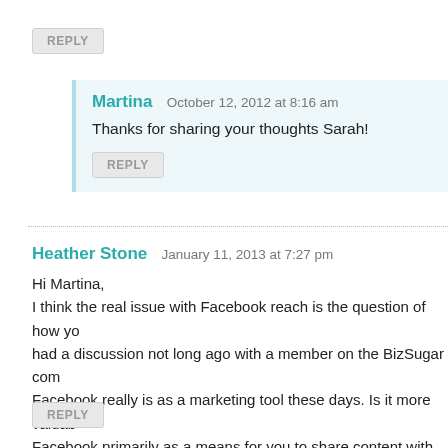REPLY
Martina  October 12, 2012 at 8:16 am
Thanks for sharing your thoughts Sarah!
REPLY
Heather Stone  January 11, 2013 at 7:27 pm
Hi Martina,
I think the real issue with Facebook reach is the question of how yo... had a discussion not long ago with a member on the BizSugar com... Facebook really is as a marketing tool these days. Is it more valuab... Facebook primarily as a means for you to share content with your c... visitors to share your content with their communities?
Heather Stone recently posted..Why People Hate SEO
REPLY